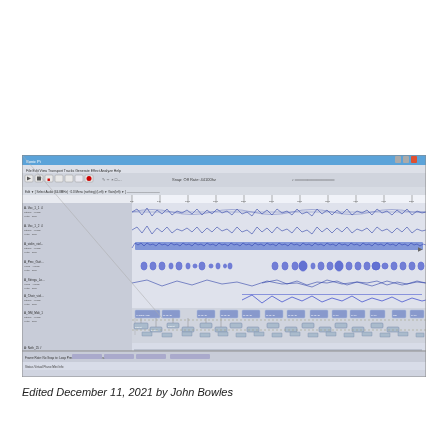[Figure (screenshot): Audacity audio editing software screenshot showing multiple audio tracks with waveforms, MIDI tracks with notes, and a timeline ruler. Multiple tracks are visible including stereo audio waveforms (shown as blue waveforms), a MIDI/piano roll track, and additional audio tracks. The interface shows the standard Audacity toolbar with transport controls, track controls on the left, and the main waveform editing area.]
Edited December 11, 2021 by John Bowles